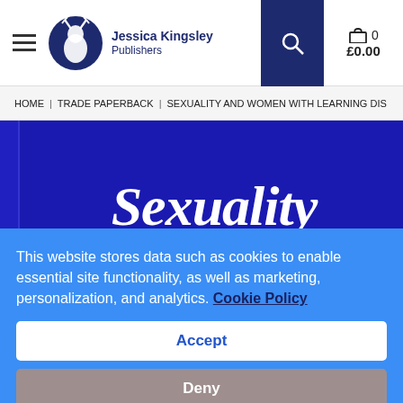Jessica Kingsley Publishers — navigation header with logo, search, and cart (£0.00)
HOME | TRADE PAPERBACK | SEXUALITY AND WOMEN WITH LEARNING DIS
[Figure (photo): Blue book cover showing the title 'Sexuality and Women' in large white italic serif text on a dark blue background]
This website stores data such as cookies to enable essential site functionality, as well as marketing, personalization, and analytics. Cookie Policy
Accept
Deny